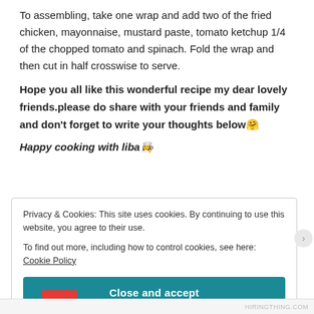To assembling, take one wrap and add two of the fried chicken, mayonnaise, mustard paste, tomato ketchup 1/4 of the chopped tomato and spinach. Fold the wrap and then cut in half crosswise to serve.
Hope you all like this wonderful recipe my dear lovely friends.please do share with your friends and family and don't forget to write your thoughts below 🤗
Happy cooking with liba 👩‍🍳
Privacy & Cookies: This site uses cookies. By continuing to use this website, you agree to their use.
To find out more, including how to control cookies, see here: Cookie Policy
Close and accept